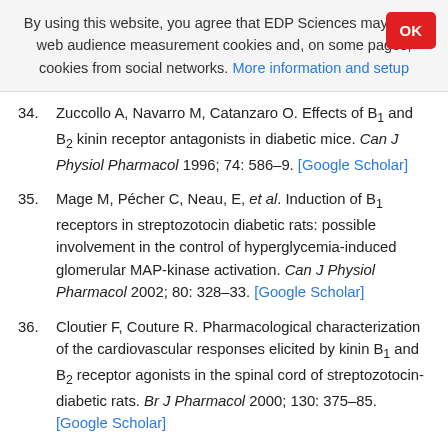By using this website, you agree that EDP Sciences may store web audience measurement cookies and, on some pages, cookies from social networks. More information and setup
34. Zuccollo A, Navarro M, Catanzaro O. Effects of B1 and B2 kinin receptor antagonists in diabetic mice. Can J Physiol Pharmacol 1996; 74: 586–9. [Google Scholar]
35. Mage M, Pécher C, Neau, E, et al. Induction of B1 receptors in streptozotocin diabetic rats: possible involvement in the control of hyperglycemia-induced glomerular MAP-kinase activation. Can J Physiol Pharmacol 2002; 80: 328–33. [Google Scholar]
36. Cloutier F, Couture R. Pharmacological characterization of the cardiovascular responses elicited by kinin B1 and B2 receptor agonists in the spinal cord of streptozotocin-diabetic rats. Br J Pharmacol 2000; 130: 375–85. [Google Scholar]